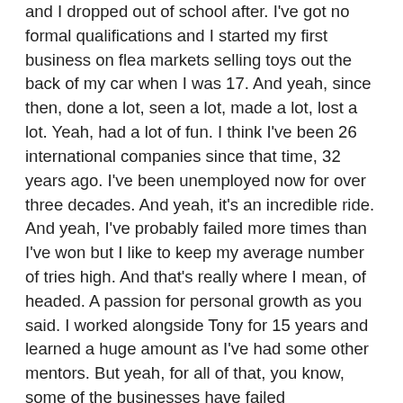and I dropped out of school after. I've got no formal qualifications and I started my first business on flea markets selling toys out the back of my car when I was 17. And yeah, since then, done a lot, seen a lot, made a lot, lost a lot. Yeah, had a lot of fun. I think I've been 26 international companies since that time, 32 years ago. I've been unemployed now for over three decades. And yeah, it's an incredible ride. And yeah, I've probably failed more times than I've won but I like to keep my average number of tries high. And that's really where I mean, of headed. A passion for personal growth as you said. I worked alongside Tony for 15 years and learned a huge amount as I've had some other mentors. But yeah, for all of that, you know, some of the businesses have failed majestically, some have worked, some should have stayed ideas when I was drunk and pretty much everything in between. So yeah, the highs and lows and vicissitudes of life but hopefully, I can pull something out of that and share with your listeners and viewers to help save some of the mistakes and the pitfalls that I've gone through and give them some tidbits on how to help them.
Rod: No. I love it, I love it. And a lot of, oh gosh, things resonating with me when we talk about failures and, you know